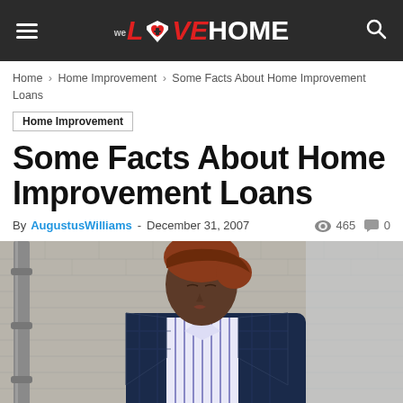WeLoveHome — navigation header with logo, hamburger menu, and search icon
Home › Home Improvement › Some Facts About Home Improvement Loans
Home Improvement
Some Facts About Home Improvement Loans
By AugustusWilliams - December 31, 2007  465  0
[Figure (photo): Portrait of a young woman with short reddish-brown hair wearing a navy plaid blazer and striped button-up shirt, standing in front of a brick wall with a drainpipe on the left.]